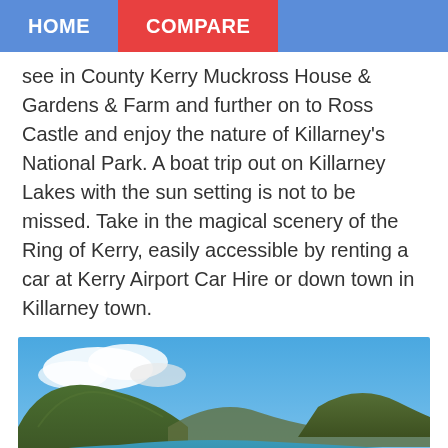HOME  COMPARE
see in County Kerry Muckross House & Gardens & Farm and further on to Ross Castle and enjoy the nature of Killarney's National Park. A boat trip out on Killarney Lakes with the sun setting is not to be missed. Take in the magical scenery of the Ring of Kerry, easily accessible by renting a car at Kerry Airport Car Hire or down town in Killarney town.
[Figure (photo): Panoramic landscape photo of the Ring of Kerry showing green fields, a bay, and hills under a blue sky. Watermark reads airportcarhire.net]
Dingle Peninsula, you can watch the beauty of